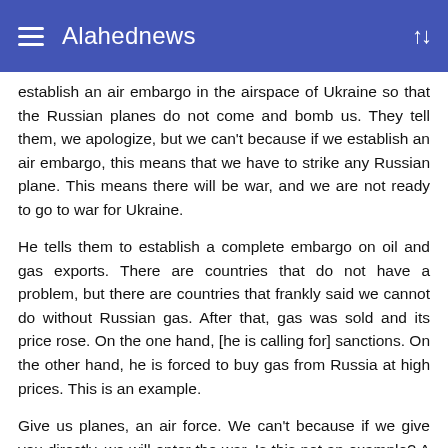Alahednews
establish an air embargo in the airspace of Ukraine so that the Russian planes do not come and bomb us. They tell them, we apologize, but we can't because if we establish an air embargo, this means that we have to strike any Russian plane. This means there will be war, and we are not ready to go to war for Ukraine.
He tells them to establish a complete embargo on oil and gas exports. There are countries that do not have a problem, but there are countries that frankly said we cannot do without Russian gas. After that, gas was sold and its price rose. On the one hand, [he is calling for] sanctions. On the other hand, he is forced to buy gas from Russia at high prices. This is an example.
Give us planes, an air force. We can't because if we give you directly, we will enter the war. Is this not an example? A lesson? They are basically telling them: you fight. We are not ready to fight for you. The most we can do is impose sanctions and embargo because we have a goal which is to weaken Russia –